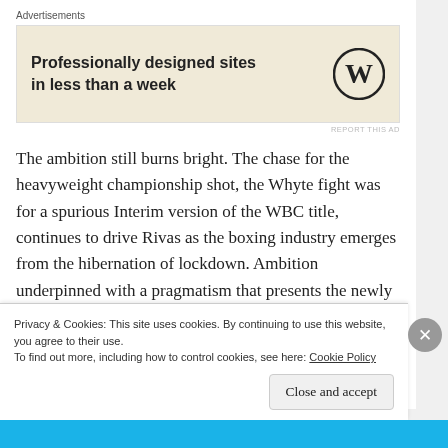Advertisements
[Figure (other): WordPress advertisement banner with text 'Professionally designed sites in less than a week' and WordPress logo]
The ambition still burns bright. The chase for the heavyweight championship shot, the Whyte fight was for a spurious Interim version of the WBC title, continues to drive Rivas as the boxing industry emerges from the hibernation of lockdown. Ambition underpinned with a pragmatism that presents the newly inaugurated Bridgerweight division as potential target too. “I have respect for the big names, the heavyweight division is full of talented boxers, but I am second to no one. I can become the next
Privacy & Cookies: This site uses cookies. By continuing to use this website, you agree to their use.
To find out more, including how to control cookies, see here: Cookie Policy